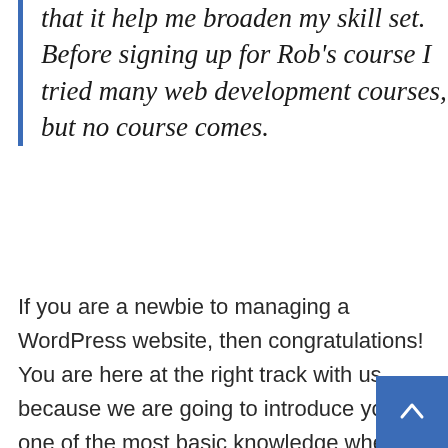that it help me broaden my skill set. Before signing up for Rob's course I tried many web development courses, but no course comes.
If you are a newbie to managing a WordPress website, then congratulations! You are here at the right track with us because we are going to introduce you one of the most basic knowledge when owning a WordPress page: how to find your best WordPress Hosting service. This process is often overlooked by most of the website